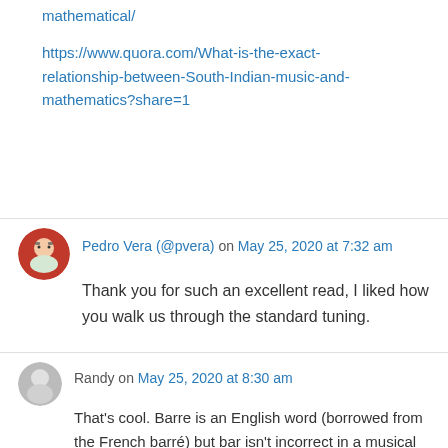mathematical/

https://www.quora.com/What-is-the-exact-relationship-between-South-Indian-music-and-mathematics?share=1
Pedro Vera (@pvera) on May 25, 2020 at 7:32 am
Thank you for such an excellent read, I liked how you walk us through the standard tuning.
Randy on May 25, 2020 at 8:30 am
That's cool. Barre is an English word (borrowed from the French barré) but bar isn't incorrect in a musical context (just less common).